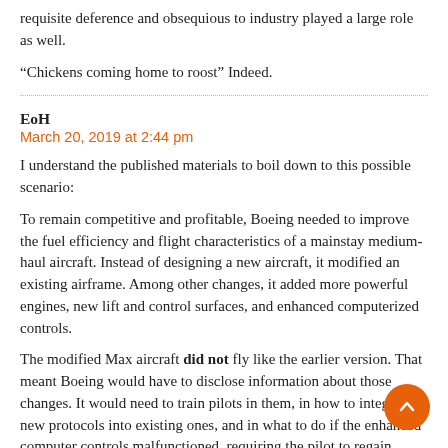requisite deference and obsequious to industry played a large role as well.
“Chickens coming home to roost” Indeed.
EoH
March 20, 2019 at 2:44 pm
I understand the published materials to boil down to this possible scenario:
To remain competitive and profitable, Boeing needed to improve the fuel efficiency and flight characteristics of a mainstay medium-haul aircraft. Instead of designing a new aircraft, it modified an existing airframe. Among other changes, it added more powerful engines, new lift and control surfaces, and enhanced computerized controls.
The modified Max aircraft **did not** fly like the earlier version. That meant Boeing would have to disclose information about those changes. It would need to train pilots in them, in how to integrate new protocols into existing ones, and in what to do if the enhanced computer controls malfunctioned, requiring the pilot to regain manual control.
These steps could have increased cost and time to market